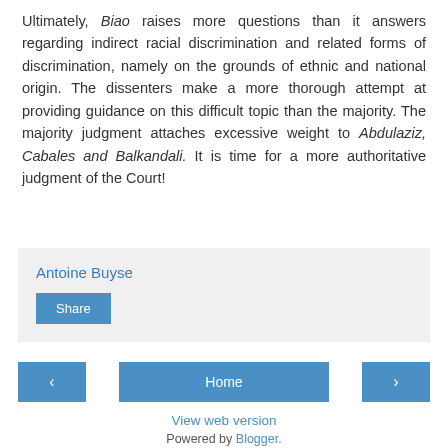Ultimately, Biao raises more questions than it answers regarding indirect racial discrimination and related forms of discrimination, namely on the grounds of ethnic and national origin. The dissenters make a more thorough attempt at providing guidance on this difficult topic than the majority. The majority judgment attaches excessive weight to Abdulaziz, Cabales and Balkandali. It is time for a more authoritative judgment of the Court!
Antoine Buyse
Share
Home
View web version
Powered by Blogger.